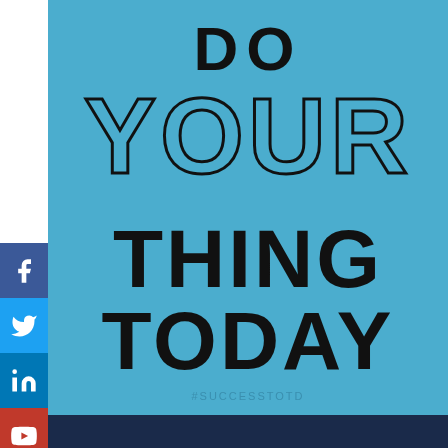[Figure (infographic): Motivational social media post with blue background. Large bold text reads 'DO YOUR THING TODAY'. 'YOUR' is in outline/stroke style. Hashtag #SUCCESSTOTD at bottom. Social media icons (Facebook, Twitter, LinkedIn, YouTube, Instagram) on left side. Navy bar at bottom.]
DO YOUR THING TODAY
#SUCCESSTOTD